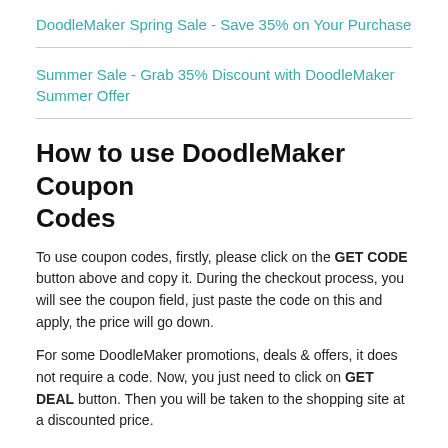DoodleMaker Spring Sale - Save 35% on Your Purchase
Summer Sale - Grab 35% Discount with DoodleMaker Summer Offer
How to use DoodleMaker Coupon Codes
To use coupon codes, firstly, please click on the GET CODE button above and copy it. During the checkout process, you will see the coupon field, just paste the code on this and apply, the price will go down.
For some DoodleMaker promotions, deals & offers, it does not require a code. Now, you just need to click on GET DEAL button. Then you will be taken to the shopping site at a discounted price.
Sometimes DoodleMaker coupons only work when you pay through a third party. So when you click to view the code, a new browser tab will be opened for the payment page (make sure